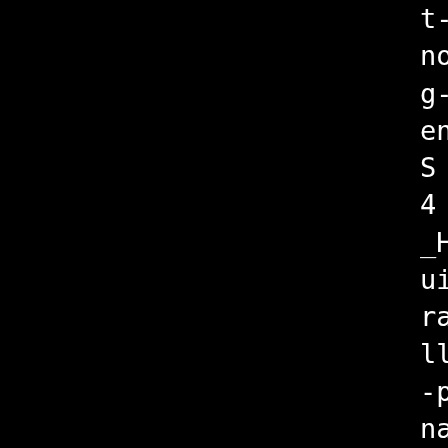t-frame-pointer -march=i486 nous-unwind-tables -gdwar g-types-section -fvar-trac ents -g2 -D_SCONS -DMONGO_ S -DSUPPORT_UTF8 -D_FILE_C 4 -DXP_UNIX -DMONGO_HAVE_H _H -DMONGO_HAVE_EXECINFO_E uild/linux2/cxx_i486-pld-l ralib_pcrecpp_pcre_snappy/ ll/usev8 -Isrc -Ibuild/lin -pld-linux-g++/extralib_pc nappy/use-system-all/usev8 c/mongo -I/tmp/B.dd852db4- f6-493f936df352/BUILD/v8/i ongo/db/modules/mms.cpp i486-pld-linux-g++ -o buil _i486-pld-linux-g++/extra. cre_snappy/use-system-all/ util/stacktrace.o -c -Wnon r -Woverloaded-virtual -fP ct-aliasing -ggdb -pthread n-compare -Wno-unknown-pra id-pch -Werror -pipe -fno- mp -O2 -fwrapv -pipe -Wfor